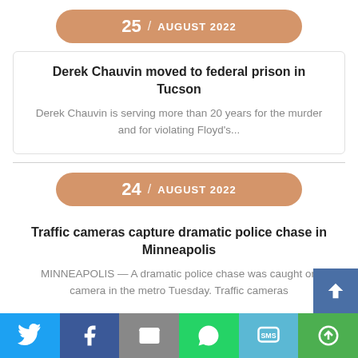25 / AUGUST 2022
Derek Chauvin moved to federal prison in Tucson
Derek Chauvin is serving more than 20 years for the murder and for violating Floyd's...
24 / AUGUST 2022
Traffic cameras capture dramatic police chase in Minneapolis
MINNEAPOLIS — A dramatic police chase was caught on camera in the metro Tuesday. Traffic cameras